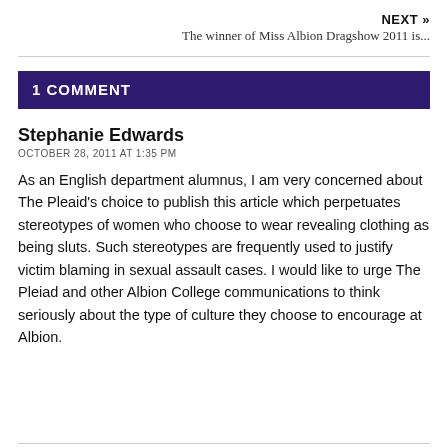NEXT » The winner of Miss Albion Dragshow 2011 is...
1 COMMENT
Stephanie Edwards
OCTOBER 28, 2011 AT 1:35 PM
As an English department alumnus, I am very concerned about The Pleaid's choice to publish this article which perpetuates stereotypes of women who choose to wear revealing clothing as being sluts. Such stereotypes are frequently used to justify victim blaming in sexual assault cases. I would like to urge The Pleiad and other Albion College communications to think seriously about the type of culture they choose to encourage at Albion.